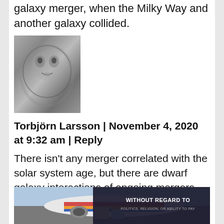galaxy merger, when the Milky Way and another galaxy collided.
[Figure (photo): Avatar image of a lion or big cat, grayscale pencil sketch]
Torbjörn Larsson | November 4, 2020 at 9:32 am | Reply
There isn't any merger correlated with the solar system age, but there are dwarf galaxy interactions of ongoing mergers that are thought to be associated with increased star formation rate.
“The formation of the sun, the solar system and the subsequent emergence of
[Figure (photo): Advertisement banner showing an airplane being loaded with cargo, colorful Southwest Airlines livery, with a dark overlay reading WITHOUT REGARD TO POLITICS, RELIGION, OR ABILITY TO PAY]